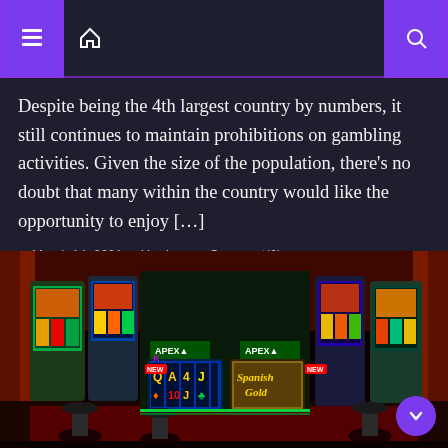Navigation header with menu icon, home icon, and search icon
Despite being the 4th largest country by numbers, it still continues to maintain prohibitions on gambling activities. Given the size of the population, there’s no doubt that many within the country would like the opportunity to enjoy […]
March 14, 2021  Harrison  Comment(0)
[Figure (photo): Interior of a casino floor filled with colorful slot machines, including APEX brand machines and a 'Spanish Gold' slot machine display screen. The casino has dramatic lighting with red and neon colors.]